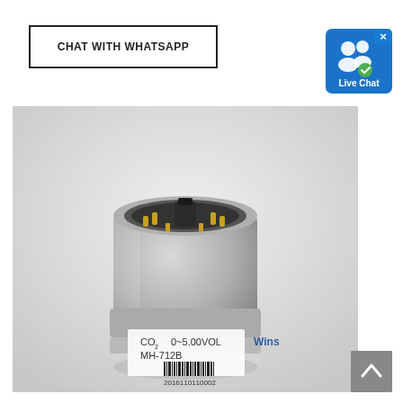CHAT WITH WHATSAPP
[Figure (photo): Silver cylindrical CO2 gas sensor module labeled 'CO2 0~5.00VOL MH-712B' with a barcode '2016110110002' and 'Wins' brand marking. The sensor has a circular open top with gold pin connectors and a black center element.]
[Figure (screenshot): Live Chat button widget — blue rounded square with white people icons and 'Live Chat' text label, with an X close button in the top right corner.]